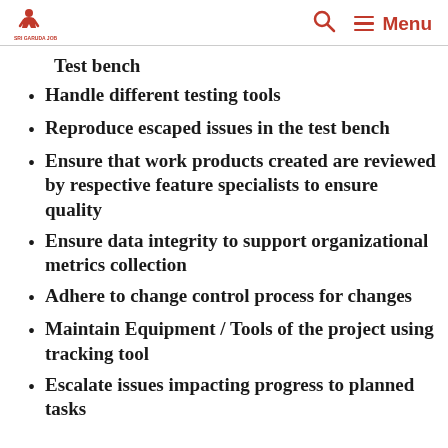Menu
Test bench
Handle different testing tools
Reproduce escaped issues in the test bench
Ensure that work products created are reviewed by respective feature specialists to ensure quality
Ensure data integrity to support organizational metrics collection
Adhere to change control process for changes
Maintain Equipment / Tools of the project using tracking tool
Escalate issues impacting progress to planned tasks